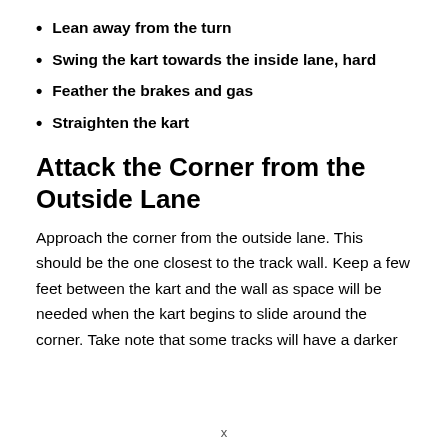Lean away from the turn
Swing the kart towards the inside lane, hard
Feather the brakes and gas
Straighten the kart
Attack the Corner from the Outside Lane
Approach the corner from the outside lane. This should be the one closest to the track wall. Keep a few feet between the kart and the wall as space will be needed when the kart begins to slide around the corner. Take note that some tracks will have a darker
x